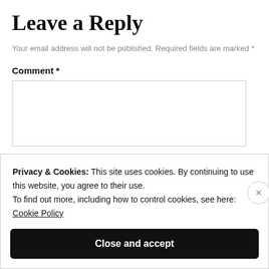Leave a Reply
Your email address will not be published. Required fields are marked *
Comment *
Privacy & Cookies: This site uses cookies. By continuing to use this website, you agree to their use.
To find out more, including how to control cookies, see here: Cookie Policy
Close and accept
WORDPRESS.COM